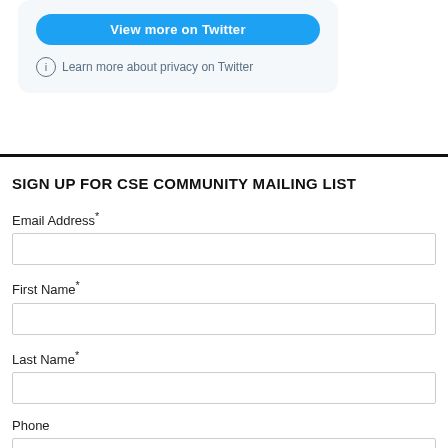[Figure (screenshot): Twitter widget showing a 'View more on Twitter' blue button and a 'Learn more about privacy on Twitter' link with an info icon, inside a light grey rounded card]
SIGN UP FOR CSE COMMUNITY MAILING LIST
Email Address*
First Name*
Last Name*
Phone